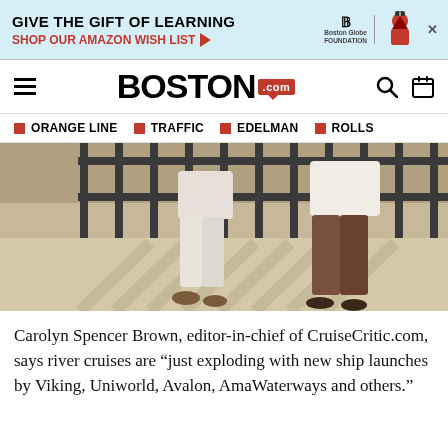[Figure (screenshot): Advertisement banner: GIVE THE GIFT OF LEARNING / SHOP OUR AMAZON WISH LIST with arrow, Boston Globe Foundation logo, and illustrated figure with graduation cap]
BOSTON.com navigation bar with hamburger menu, Boston.com logo, search icon, and calendar icon
ORANGE LINE | TRAFFIC | EDELMAN | ROLLS
[Figure (photo): Two people standing at a railing overlooking water, seen from behind, casting shadows on a light-colored deck. One person wears white trousers, the other brown trousers.]
Carolyn Spencer Brown, editor-in-chief of CruiseCritic.com, says river cruises are “just exploding with new ship launches by Viking, Uniworld, Avalon, AmaWaterways and others.”